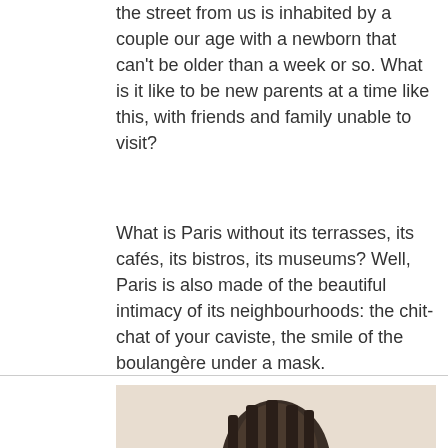the street from us is inhabited by a couple our age with a newborn that can't be older than a week or so. What is it like to be new parents at a time like this, with friends and family unable to visit?
What is Paris without its terrasses, its cafés, its bistros, its museums? Well, Paris is also made of the beautiful intimacy of its neighbourhoods: the chit-chat of your caviste, the smile of the boulangère under a mask.
[Figure (photo): Partial photograph showing what appears to be a dark sculptural or architectural element against a beige/cream background, cropped at the bottom of the page.]